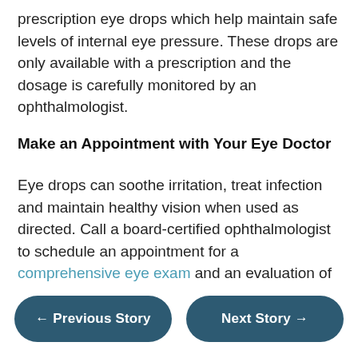prescription eye drops which help maintain safe levels of internal eye pressure. These drops are only available with a prescription and the dosage is carefully monitored by an ophthalmologist.
Make an Appointment with Your Eye Doctor
Eye drops can soothe irritation, treat infection and maintain healthy vision when used as directed. Call a board-certified ophthalmologist to schedule an appointment for a comprehensive eye exam and an evaluation of your eye care regimen.
← Previous Story
Next Story →